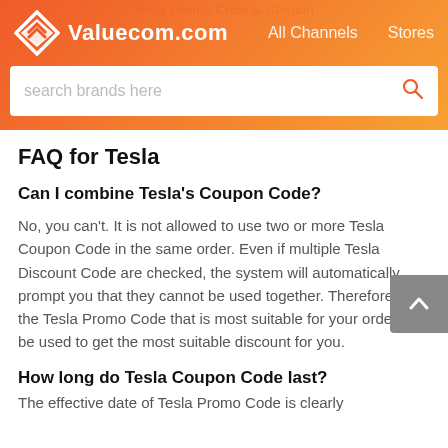Valuecom.com  All Channels  Stores
FAQ for Tesla
Can I combine Tesla's Coupon Code?
No, you can't. It is not allowed to use two or more Tesla Coupon Code in the same order. Even if multiple Tesla Discount Code are checked, the system will automatically prompt you that they cannot be used together. Therefore, only the Tesla Promo Code that is most suitable for your order can be used to get the most suitable discount for you.
How long do Tesla Coupon Code last?
The effective date of Tesla Promo Code is clearly